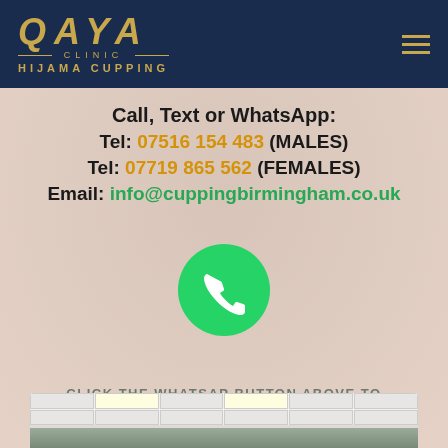[Figure (logo): Qaya Clinic Hijama Cupping logo in gold on dark navy background, with hamburger menu icon]
Call, Text or WhatsApp:
Tel: 07516 154 483 (MALES)
Tel: 07719 865 562 (FEMALES)
Email: info@cuppingbirmingham.co.uk
[Figure (illustration): WhatsApp logo — green circle with white phone handset icon and speech bubble tail]
CLICK THE WHATSAP BUTTON ABOVE TO DIRECTLY SPEAK WITH US VIA WHATSAP
[Figure (photo): Interior photo of the clinic showing white ceiling tiles with recessed lighting and green flooring]